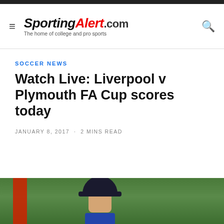SportingAlert.com - The home of college and pro sports
SOCCER NEWS
Watch Live: Liverpool v Plymouth FA Cup scores today
JANUARY 8, 2017 · 2 MINS READ
[Figure (photo): Person wearing a dark baseball cap on a green grass field, with a red object visible to the left]